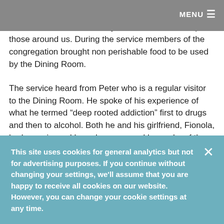MENU
Room was established to tackle food poverty and isolation, the focus was very much on how we help those around us. During the service members of the congregation brought non perishable food to be used by the Dining Room.
The service heard from Peter who is a regular visitor to the Dining Room. He spoke of his experience of what he termed “deep rooted addiction” first to drugs and then to alcohol. Both he and his girlfriend, Fionola, had experienced homelessness and he spoke of the hot meals, clothing and sleeping bag and friendship he had received at the Dining Room. Speaking of the role a God of understanding plays in his life, Peter said that
This site uses cookies for general analytics but not for advertising purposes. If you continue without changing your settings, we'll assume that you are happy to receive all cookies on our website. However, you can change your cookie settings at any time.